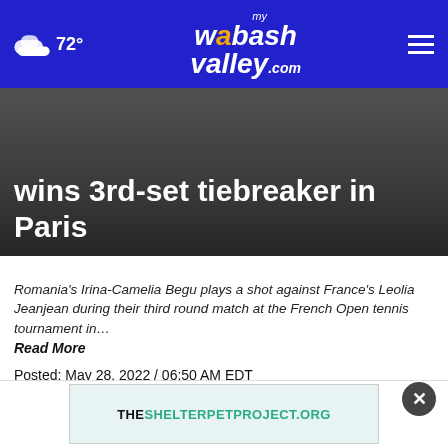72° mywabashvalley.com
wins 3rd-set tiebreaker in Paris
Romania's Irina-Camelia Begu plays a shot against France's Leolia Jeanjean during their third round match at the French Open tennis tournament in… Read More
Posted: May 28, 2022 / 06:50 AM EDT
Updated: May 28, 2022 / 03:10 PM EDT
SHARE
PARIS ... nd Slam ...